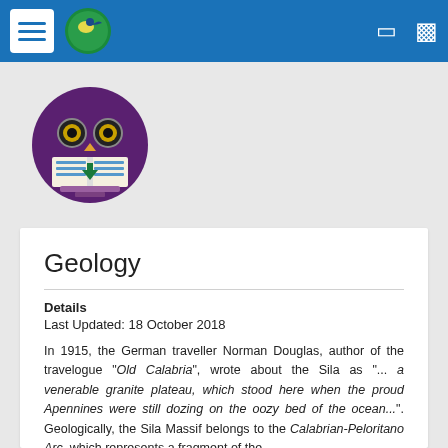[Figure (screenshot): Website navigation bar with hamburger menu, circular logo with bird and Arabic text, and two icon buttons on the right, on a blue background]
[Figure (logo): Circular purple logo with an owl holding an open book with a download arrow, representing a digital library or educational resource]
Geology
Details
Last Updated: 18 October 2018
In 1915, the German traveller Norman Douglas, author of the travelogue "Old Calabria", wrote about the Sila as "... a venerable granite plateau, which stood here when the proud Apennines were still dozing on the oozy bed of the ocean...". Geologically, the Sila Massif belongs to the Calabrian-Peloritano Arc, which represents a fragment of the